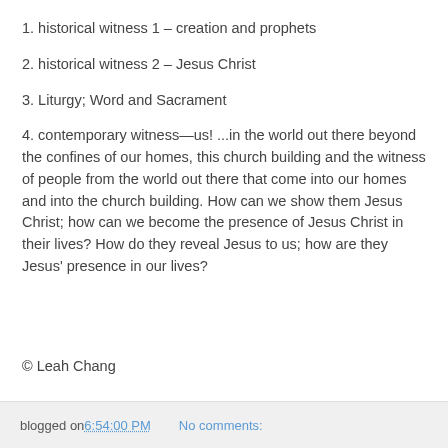1. historical witness 1 – creation and prophets
2. historical witness 2 – Jesus Christ
3. Liturgy; Word and Sacrament
4. contemporary witness—us! ...in the world out there beyond the confines of our homes, this church building and the witness of people from the world out there that come into our homes and into the church building. How can we show them Jesus Christ; how can we become the presence of Jesus Christ in their lives? How do they reveal Jesus to us; how are they Jesus' presence in our lives?
© Leah Chang
blogged on 6:54:00 PM   No comments: